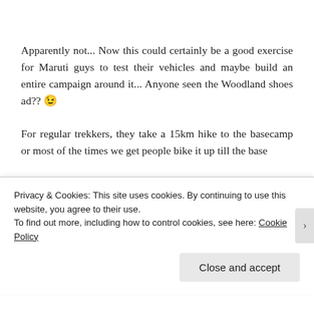Apparently not... Now this could certainly be a good exercise for Maruti guys to test their vehicles and maybe build an entire campaign around it... Anyone seen the Woodland shoes ad?? 😉
For regular trekkers, they take a 15km hike to the basecamp or most of the times we get people bike it up till the base
Privacy & Cookies: This site uses cookies. By continuing to use this website, you agree to their use.
To find out more, including how to control cookies, see here: Cookie Policy
Close and accept